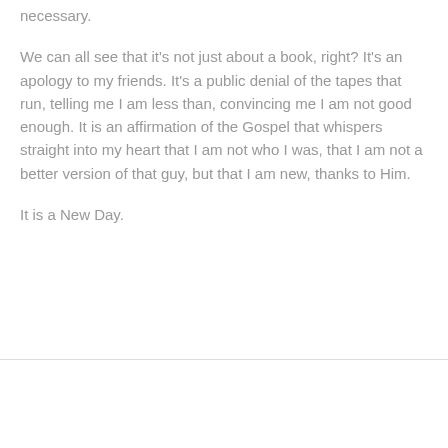necessary.
We can all see that it's not just about a book, right? It's an apology to my friends. It's a public denial of the tapes that run, telling me I am less than, convincing me I am not good enough. It is an affirmation of the Gospel that whispers straight into my heart that I am not who I was, that I am not a better version of that guy, but that I am new, thanks to Him.
It is a New Day.